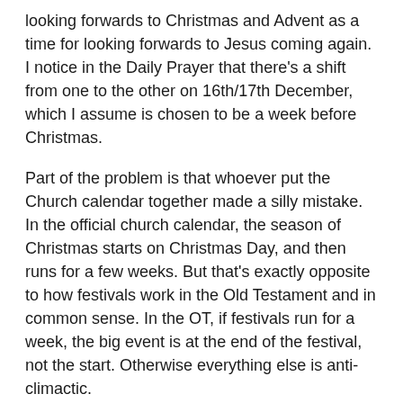looking forwards to Christmas and Advent as a time for looking forwards to Jesus coming again. I notice in the Daily Prayer that there's a shift from one to the other on 16th/17th December, which I assume is chosen to be a week before Christmas.
Part of the problem is that whoever put the Church calendar together made a silly mistake. In the official church calendar, the season of Christmas starts on Christmas Day, and then runs for a few weeks. But that's exactly opposite to how festivals work in the Old Testament and in common sense. In the OT, if festivals run for a week, the big event is at the end of the festival, not the start. Otherwise everything else is anti-climactic.
So by trying to say that the holiday starts with Christmas (as some rule-following liturgical purists claim), if we're going to avoid all the rest of the season being an anti-climax, we need something at least as big to end it. Some people try doing that with Epiphany, but it doesn't really work. Not in the West, anyway. So what happens is that New Year gets seen as the end of the festival, and then becomes the natural